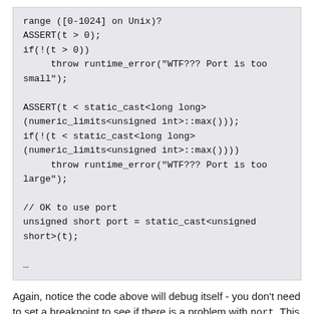[Figure (other): Code block showing C++ port validation code with ASSERT macros and runtime_error throws]
Again, notice the code above will debug itself - you don't need to set a breakpoint to see if there is a problem with port. This code will continue checking conditions, years after being instrumented (assuming to wrote code to read a config file early in the project). There's no need to remove the ASSERTs as with printf since